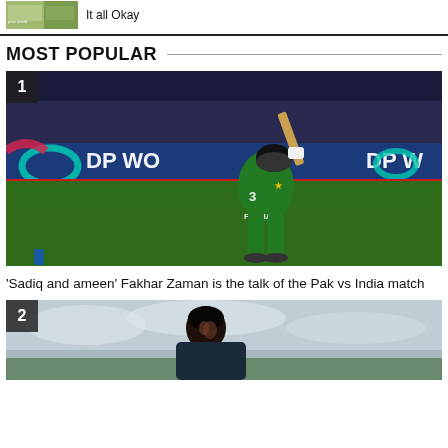[Figure (photo): Thumbnail image of a previous article with text 'It all Okay']
It all Okay
MOST POPULAR
[Figure (photo): Cricket player Fakhar Zaman (jersey number 35, FAKHAR) batting, wearing green Pakistan cricket kit, hitting a shot at a match with DP World sponsorship boards in background. Number badge '1' in top-left corner.]
'Sadiq and ameen' Fakhar Zaman is the talk of the Pak vs India match
[Figure (photo): Partial photo of a cricketer, number badge '2' in top-left corner.]